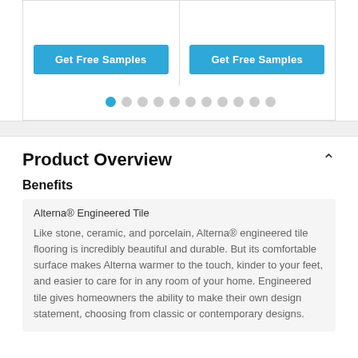[Figure (screenshot): Two product cards each with a 'Get Free Samples' blue button, followed by carousel pagination dots (first dot active in blue, rest gray)]
Product Overview
Benefits
Alterna® Engineered Tile
Like stone, ceramic, and porcelain, Alterna® engineered tile flooring is incredibly beautiful and durable. But its comfortable surface makes Alterna warmer to the touch, kinder to your feet, and easier to care for in any room of your home. Engineered tile gives homeowners the ability to make their own design statement, choosing from classic or contemporary designs.